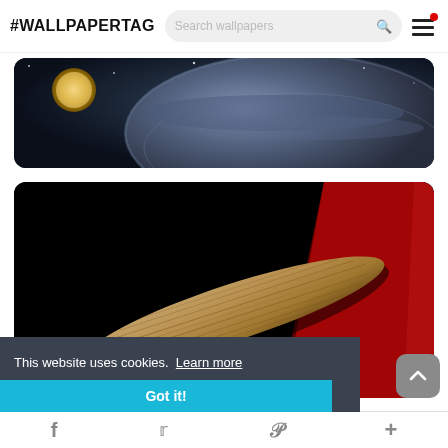#WALLPAPERTAG
[Figure (photo): Space scene showing a planet or celestial body with dark blue atmosphere and cloudy texture, partially lit]
[Figure (photo): Led Zeppelin wallpaper card showing a zeppelin airship with red background beam of light against black background. Text overlay: '71 Wallpapers' and 'Led Zeppelin']
This website uses cookies.  Learn more
Got it!
f  Twitter  P  +